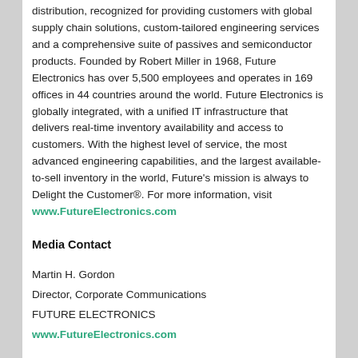distribution, recognized for providing customers with global supply chain solutions, custom-tailored engineering services and a comprehensive suite of passives and semiconductor products. Founded by Robert Miller in 1968, Future Electronics has over 5,500 employees and operates in 169 offices in 44 countries around the world. Future Electronics is globally integrated, with a unified IT infrastructure that delivers real-time inventory availability and access to customers. With the highest level of service, the most advanced engineering capabilities, and the largest available-to-sell inventory in the world, Future's mission is always to Delight the Customer®. For more information, visit www.FutureElectronics.com
Media Contact
Martin H. Gordon
Director, Corporate Communications
FUTURE ELECTRONICS
www.FutureElectronics.com